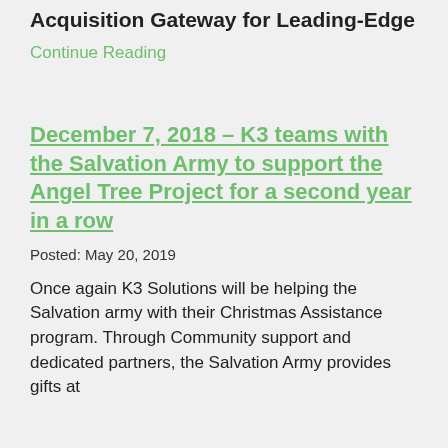Acquisition Gateway for Leading-Edge
Continue Reading
December 7, 2018 – K3 teams with the Salvation Army to support the Angel Tree Project for a second year in a row
Posted: May 20, 2019
Once again K3 Solutions will be helping the Salvation army with their Christmas Assistance program. Through Community support and dedicated partners, the Salvation Army provides gifts at Christmas time to area...